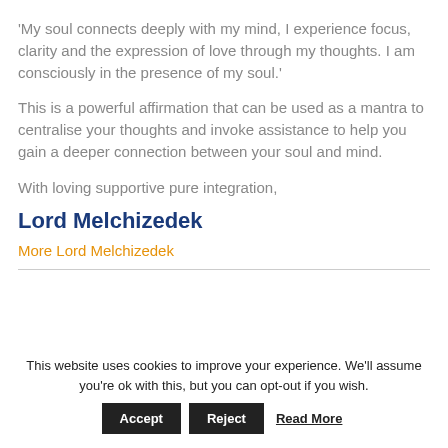'My soul connects deeply with my mind, I experience focus, clarity and the expression of love through my thoughts. I am consciously in the presence of my soul.'
This is a powerful affirmation that can be used as a mantra to centralise your thoughts and invoke assistance to help you gain a deeper connection between your soul and mind.
With loving supportive pure integration,
Lord Melchizedek
More Lord Melchizedek
This website uses cookies to improve your experience. We'll assume you're ok with this, but you can opt-out if you wish. Accept Reject Read More